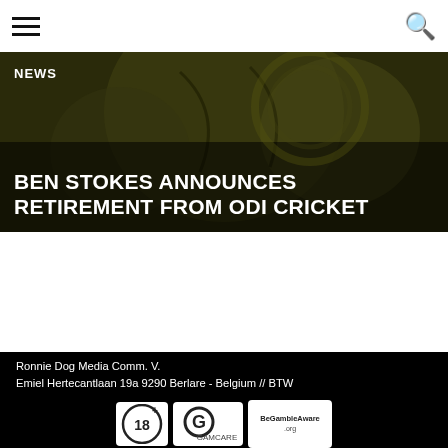Navigation bar with hamburger menu and search icon
[Figure (photo): Hero banner image showing a dark cricket ball texture background with overlay text]
NEWS
BEN STOKES ANNOUNCES RETIREMENT FROM ODI CRICKET
Ronnie Dog Media Comm. V.
Emiel Hertecantlaan 19a 9290 Berlare - Belgium // BTW (VAT) BE 0693988181

Contact us: chris@ronniedogmedia.com
[Figure (logo): 18+ logo, GamCare logo, BeGambleAware.org logo]